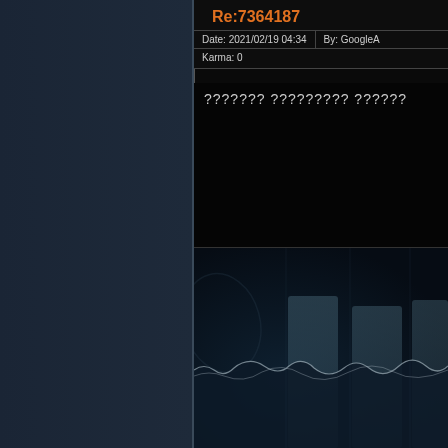Re:7364187
Date: 2021/02/19 04:34   By: GoogleA...
Karma: 0
??????? ????????? ??????
[Figure (photo): Dark aerial/ocean image with vertical bar shapes rising from water, dark blue-black tones, wave crests visible]